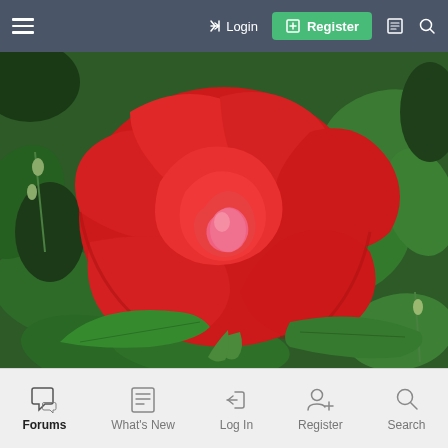≡  → Login  ⊞ Register  🗋  🔍
[Figure (photo): Close-up photograph of a vibrant red rose in full bloom surrounded by green leaves and foliage]
Forums  What's New  Log In  Register  Search